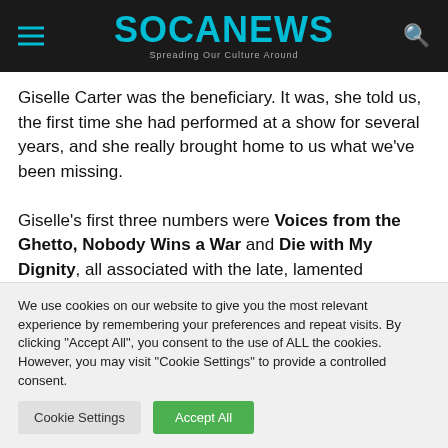SOCANEWS — Spreading Our Culture Around
Giselle Carter was the beneficiary. It was, she told us, the first time she had performed at a show for several years, and she really brought home to us what we've been missing.
Giselle's first three numbers were Voices from the Ghetto, Nobody Wins a War and Die with My Dignity, all associated with the late, lamented
We use cookies on our website to give you the most relevant experience by remembering your preferences and repeat visits. By clicking "Accept All", you consent to the use of ALL the cookies. However, you may visit "Cookie Settings" to provide a controlled consent.